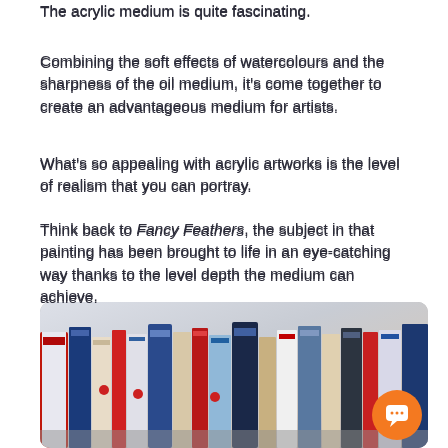The acrylic medium is quite fascinating.
Combining the soft effects of watercolours and the sharpness of the oil medium, it's come together to create an advantageous medium for artists.
What's so appealing with acrylic artworks is the level of realism that you can portray.
Think back to Fancy Feathers, the subject in that painting has been brought to life in an eye-catching way thanks to the level depth the medium can achieve.
What's your favourite acrylic artwork? Hit the comments and let us know!
Check out more stories in the journal.
[Figure (photo): A row of books or art supply boxes lined up on a shelf, showing colourful spines and packaging. A chat button overlay is visible in the bottom-right corner.]